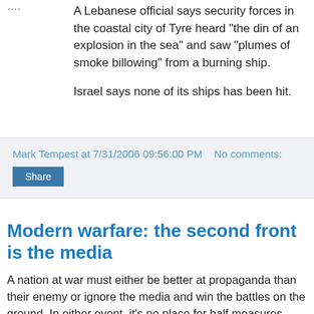A Lebanese official says security forces in the coastal city of Tyre heard "the din of an explosion in the sea" and saw "plumes of smoke billowing" from a burning ship.
Israel says none of its ships has been hit.
Mark Tempest at 7/31/2006 09:56:00 PM   No comments:
Share
Modern warfare: the second front is the media
A nation at war must either be better at propaganda than their enemy or ignore the media and win the battles on the ground. In either event, it's no place for half measures. See here: